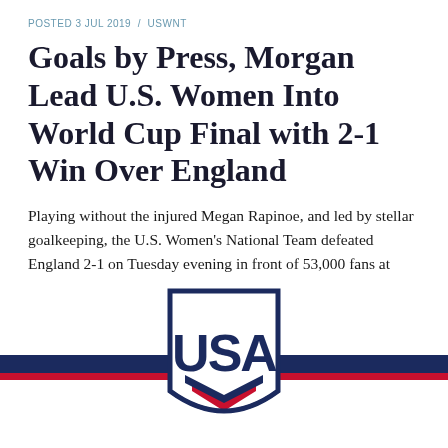POSTED 3 JUL 2019 / USWNT
Goals by Press, Morgan Lead U.S. Women Into World Cup Final with 2-1 Win Over England
Playing without the injured Megan Rapinoe, and led by stellar goalkeeping, the U.S. Women's National Team defeated England 2-1 on Tuesday evening in front of 53,000 fans at Stade de …
Continue Reading
[Figure (logo): USA Soccer logo — shield with 'USA' text in navy, red and white stripes on either side, on a white background]